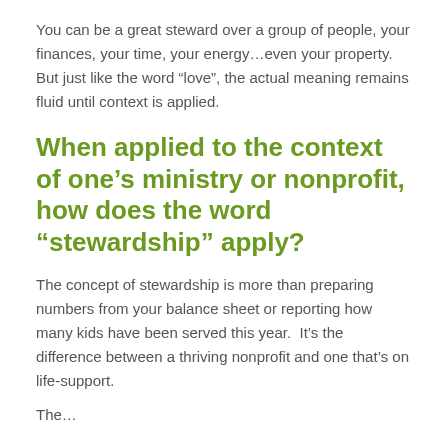You can be a great steward over a group of people, your finances, your time, your energy…even your property.  But just like the word “love”, the actual meaning remains fluid until context is applied.
When applied to the context of one’s ministry or nonprofit, how does the word “stewardship” apply?
The concept of stewardship is more than preparing numbers from your balance sheet or reporting how many kids have been served this year.  It’s the difference between a thriving nonprofit and one that’s on life-support.
The…